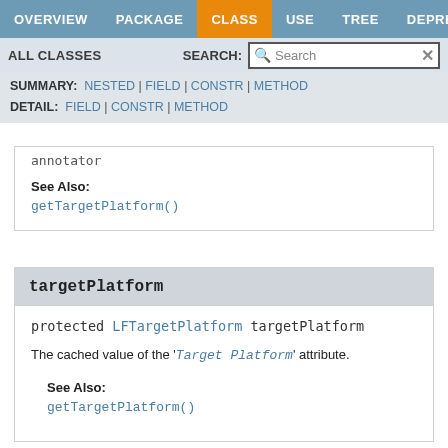OVERVIEW | PACKAGE | CLASS | USE | TREE | DEPRECATED
ALL CLASSES | SEARCH:
SUMMARY: NESTED | FIELD | CONSTR | METHOD
DETAIL: FIELD | CONSTR | METHOD
getTargetPlatform()
targetPlatform
protected LFTargetPlatform targetPlatform
The cached value of the 'Target Platform' attribute.
See Also:
getTargetPlatform()